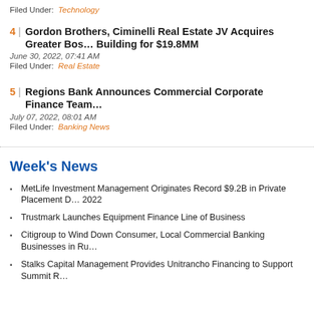Filed Under: Technology
4 | Gordon Brothers, Ciminelli Real Estate JV Acquires Greater Bos… Building for $19.8MM
June 30, 2022, 07:41 AM
Filed Under: Real Estate
5 | Regions Bank Announces Commercial Corporate Finance Team…
July 07, 2022, 08:01 AM
Filed Under: Banking News
Week's News
MetLife Investment Management Originates Record $9.2B in Private Placement D… 2022
Trustmark Launches Equipment Finance Line of Business
Citigroup to Wind Down Consumer, Local Commercial Banking Businesses in Ru…
Stalks Capital Management Provides Unitrancho Financing to Support Summit R…